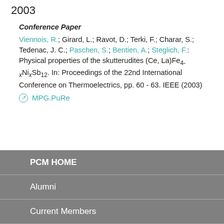2003
Conference Paper
Viennois, R.; Girard, L.; Ravot, D.; Terki, F.; Charar, S.; Tedenac, J. C.; Paschen, S.; Bentien, A.; Steglich, F.: Physical properties of the skutterudites (Ce, La)Fe4-xNixSb12. In: Proceedings of the 22nd International Conference on Thermoelectrics, pp. 60 - 63. IEEE (2003)
MPG.PuRe
PCM HOME
Alumni
Current Members